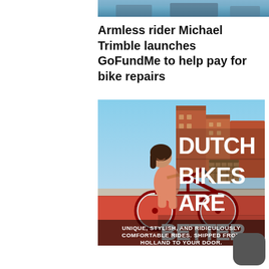[Figure (photo): Partial cropped photo at the top, showing sky and possibly a crowd or outdoor scene in blue tones]
Armless rider Michael Trimble launches GoFundMe to help pay for bike repairs
[Figure (advertisement): Advertisement image showing a woman riding a red Dutch bicycle in a city street. Text overlay reads: DUTCH BIKES ARE BETTER. UNIQUE, STYLISH, AND RIDICULOUSLY COMFORTABLE RIDES. SHIPPED FROM HOLLAND TO YOUR DOOR.]